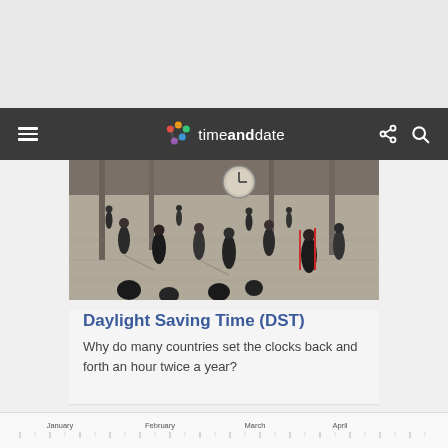[Figure (photo): Top gray background area / header region of a website]
timeanddate — navigation bar with hamburger menu, logo, share and search icons
[Figure (photo): Overhead photo of a busy public space (airport or transit hub) with many people walking, casting shadows on a light floor. A large clock is visible in the background.]
Daylight Saving Time (DST)
Why do many countries set the clocks back and forth an hour twice a year?
[Figure (other): Partial timeline chart showing months: January, February, March, April along the x-axis at the bottom of the page]